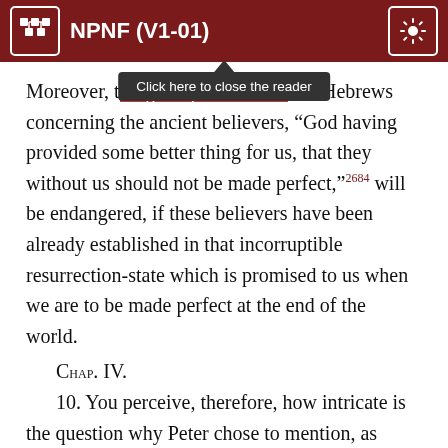NPNF (V1-01)
Moreover, [the good promised to the] Hebrews concerning the ancient believers, “God having provided some better thing for us, that they without us should not be made perfect,”²⁶⁸⁴ will be endangered, if these believers have been already established in that incorruptible resurrection-state which is promised to us when we are to be made perfect at the end of the world.
Chap. IV.
10. You perceive, therefore, how intricate is the question why Peter chose to mention, as persons to whom, when shut up in prison, the gospel was preached, those only who were unbelieving in the